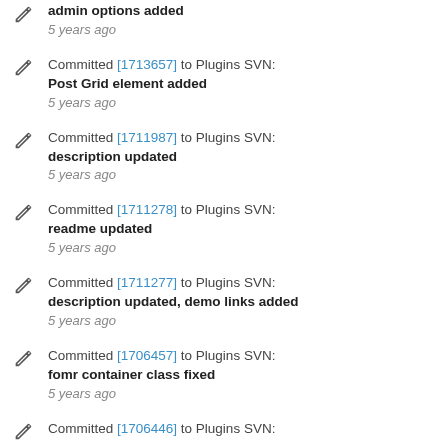admin options added
5 years ago
Committed [1713657] to Plugins SVN: Post Grid element added
5 years ago
Committed [1711987] to Plugins SVN: description updated
5 years ago
Committed [1711278] to Plugins SVN: readme updated
5 years ago
Committed [1711277] to Plugins SVN: description updated, demo links added
5 years ago
Committed [1706457] to Plugins SVN: fomr container class fixed
5 years ago
Committed [1706446] to Plugins SVN: